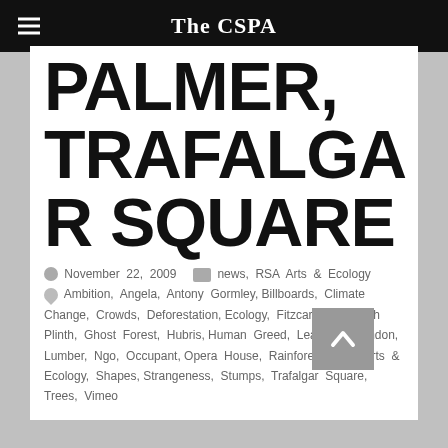The CSPA
PALMER, TRAFALGAR SQUARE
November 22, 2009   news, RSA Arts & Ecology   Ambition, Angela, Antony Gormley, Billboards, Climate Change, Crowds, Deforestation, Ecology, Fitzcaraldo, Fourth Plinth, Ghost Forest, Hubris, Human Greed, Leavings, London, Lumber, Ngo, Occupant, Opera House, Rainforest, RSA Arts & Ecology, Shapes, Strangeness, Stumps, Trafalgar Square, Trees, Vimeo